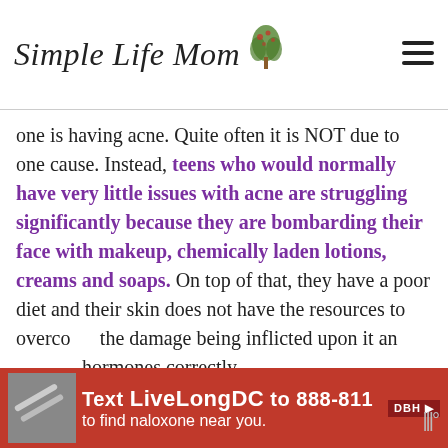Simple Life Mom
one is having acne. Quite often it is NOT due to one cause. Instead, teens who would normally have very little issues with acne are struggling significantly because they are bombarding their face with makeup, chemically laden lotions, creams and soaps. On top of that, they have a poor diet and their skin does not have the resources to overcome the damage being inflicted upon it and balance hormones correctly.
[Figure (screenshot): Ad banner: Text LiveLongDC to 888-811 to find naloxone near you.]